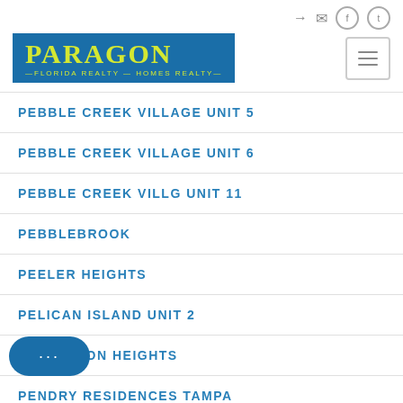[Figure (logo): Paragon Florida Realty - Homes Realty logo in blue box with yellow text]
PEBBLE CREEK VILLAGE UNIT 5
PEBBLE CREEK VILLAGE UNIT 6
PEBBLE CREEK VILLG UNIT 11
PEBBLEBROOK
PEELER HEIGHTS
PELICAN ISLAND UNIT 2
PENDLETON HEIGHTS
PENDRY RESIDENCES TAMPA